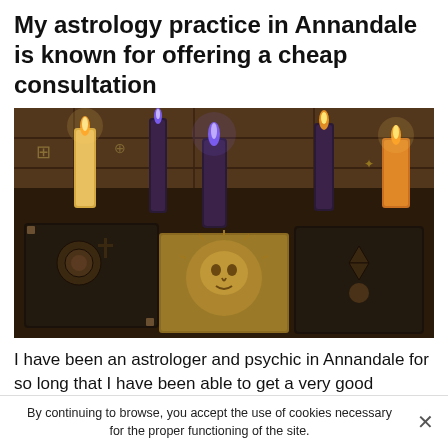My astrology practice in Annandale is known for offering a cheap consultation
[Figure (photo): Three ornate ancient books with embossed covers — one dark with a rose motif, one tan/golden with a face/sun motif, one dark with a star of David motif — surrounded by lit candles (cream, purple, and orange) on a dark wooden surface.]
I have been an astrologer and psychic in Annandale for so long that I have been able to get a very good reputation so
By continuing to browse, you accept the use of cookies necessary for the proper functioning of the site.